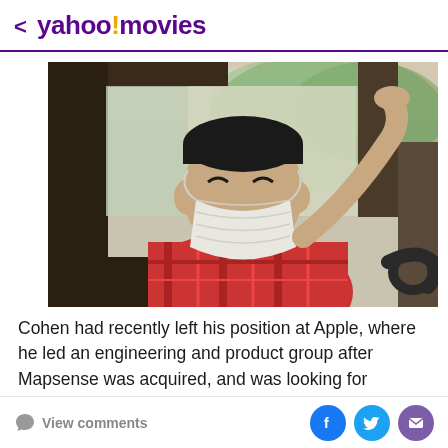< yahoo! movies
[Figure (photo): Person wearing a white N95/KN95 face mask sitting in a car, wearing a red plaid shirt, hand raised to the car roof frame, smiling, viewed through the open car window. Green foliage visible in background through windshield.]
Cohen had recently left his position at Apple, where he led an engineering and product group after Mapsense was acquired, and was looking for mission-driven opportunities. At that time, Schram was medical director of...
View comments